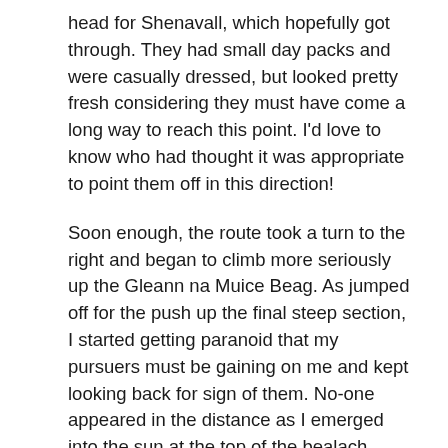head for Shenavall, which hopefully got through. They had small day packs and were casually dressed, but looked pretty fresh considering they must have come a long way to reach this point. I'd love to know who had thought it was appropriate to point them off in this direction!
Soon enough, the route took a turn to the right and began to climb more seriously up the Gleann na Muice Beag. As jumped off for the push up the final steep section, I started getting paranoid that my pursuers must be gaining on me and kept looking back for sign of them. No-one appeared in the distance as I emerged into the sun at the top of the bealach.